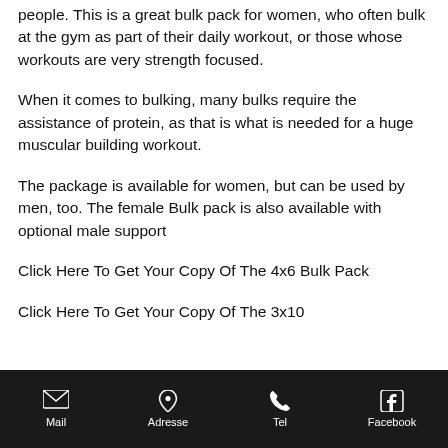people. This is a great bulk pack for women, who often bulk at the gym as part of their daily workout, or those whose workouts are very strength focused.
When it comes to bulking, many bulks require the assistance of protein, as that is what is needed for a huge muscular building workout.
The package is available for women, but can be used by men, too. The female Bulk pack is also available with optional male support
Click Here To Get Your Copy Of The 4x6 Bulk Pack
Click Here To Get Your Copy Of The 3x10
Mail   Adresse   Tel   Facebook